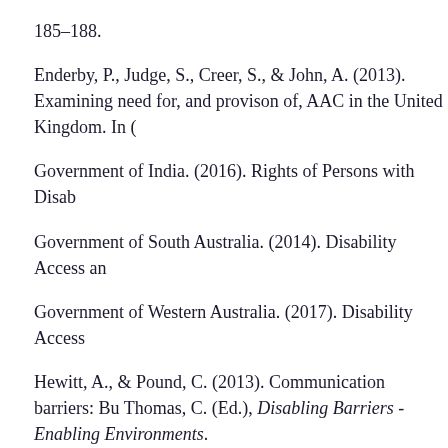185–188.
Enderby, P., Judge, S., Creer, S., & John, A. (2013). Examining need for, and provison of, AAC in the United Kingdom. In (
Government of India. (2016). Rights of Persons with Disab
Government of South Australia. (2014). Disability Access an
Government of Western Australia. (2017). Disability Access
Hewitt, A., & Pound, C. (2013). Communication barriers: Bu Thomas, C. (Ed.), Disabling Barriers - Enabling Environments.
Howery, K. L. L. (2015). Literature Review: Conditions for Su Education.
Hynan, A. (2013). How I use the internet and online social m Alternative Communication (AAC). (Electronic Thesis or Di direct=true&db=ddu&AN=D859C9F967D56341&site=eh